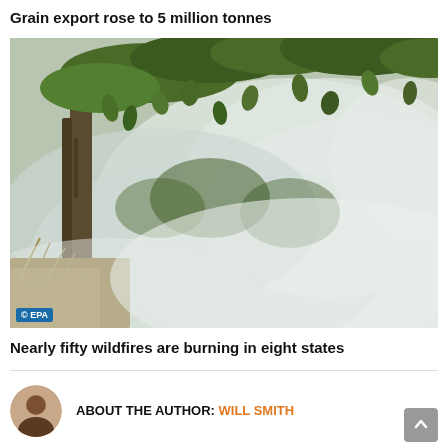Grain export rose to 5 million tonnes
[Figure (photo): A smoky wildfire scene with green trees visible through heavy white smoke and hazy atmosphere. A tree trunk is visible on the left, leafy branches hang from upper area, and dry golden grass is visible at the lower left. EPA watermark in lower left corner.]
Nearly fifty wildfires are burning in eight states
ABOUT THE AUTHOR: WILL SMITH